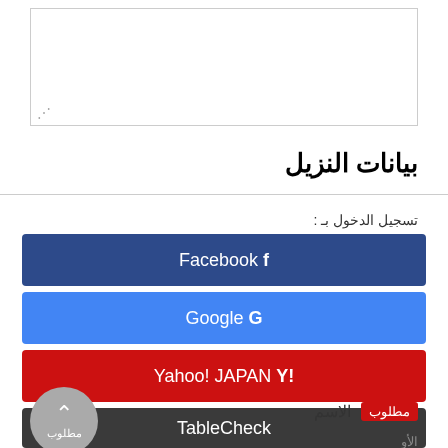[Figure (screenshot): Textarea input box with resize handle]
بيانات النزيل
تسجيل الدخول بـ
Facebook f
Google G
Yahoo! JAPAN Y!
TableCheck
[Figure (illustration): Scroll-to-top circular button with Arabic label مطلوب]
مطلوب الاسم
الأو...